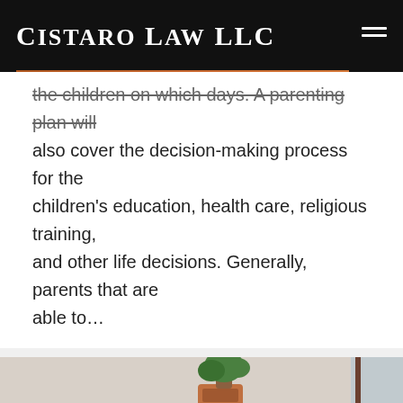Cistaro Law LLC
the children on which days. A parenting plan will also cover the decision-making process for the children's education, health care, religious training, and other life decisions. Generally, parents that are able to…
[Figure (photo): A woman and a young girl lying on the floor looking at a laptop together, smiling. Background shows a couch and indoor plants in a bright room.]